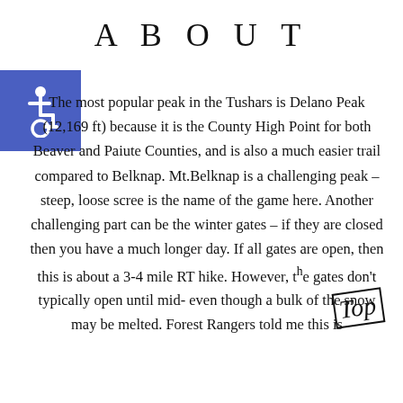ABOUT
[Figure (illustration): Blue square with white wheelchair accessibility icon]
The most popular peak in the Tushars is Delano Peak (12,169 ft) because it is the County High Point for both Beaver and Paiute Counties, and is also a much easier trail compared to Belknap. Mt.Belknap is a challenging peak – steep, loose scree is the name of the game here. Another challenging part can be the winter gates – if they are closed then you have a much longer day. If all gates are open, then this is about a 3-4 mile RT hike. However, the gates don't typically open until mid-. even though a bulk of the snow may be melted. Forest Rangers told me this is
[Figure (illustration): Handwritten 'Top' text with underline in a box, rotated slightly, stamp-style]